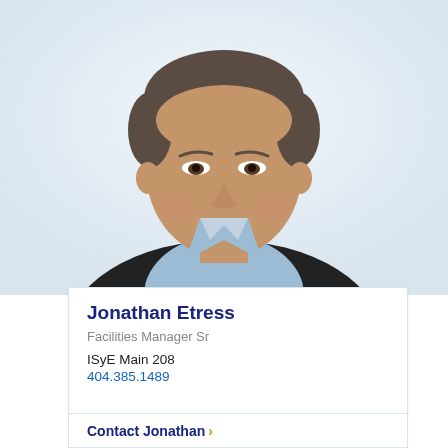[Figure (photo): Professional headshot of Jonathan Etress, a man with short salt-and-pepper hair, wearing a dark blazer over a light blue open-collar shirt, smiling against a white background.]
Jonathan Etress
Facilities Manager Sr
ISyE Main 208
404.385.1489
Contact Jonathan ›